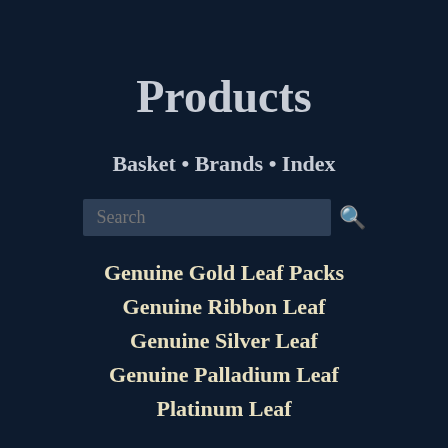Products
Basket • Brands • Index
Genuine Gold Leaf Packs
Genuine Ribbon Leaf
Genuine Silver Leaf
Genuine Palladium Leaf
Platinum Leaf